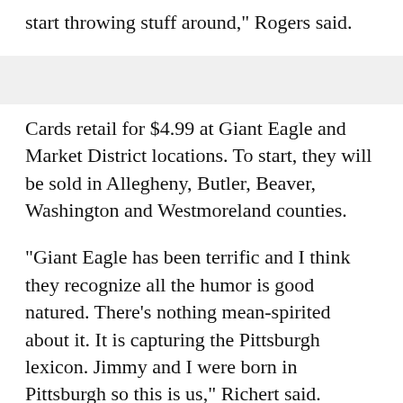start throwing stuff around," Rogers said.
Cards retail for $4.99 at Giant Eagle and Market District locations. To start, they will be sold in Allegheny, Butler, Beaver, Washington and Westmoreland counties.
"Giant Eagle has been terrific and I think they recognize all the humor is good natured. There's nothing mean-spirited about it. It is capturing the Pittsburgh lexicon. Jimmy and I were born in Pittsburgh so this is us," Richert said.
A portion of the money from every card sold goes to Animal Friends